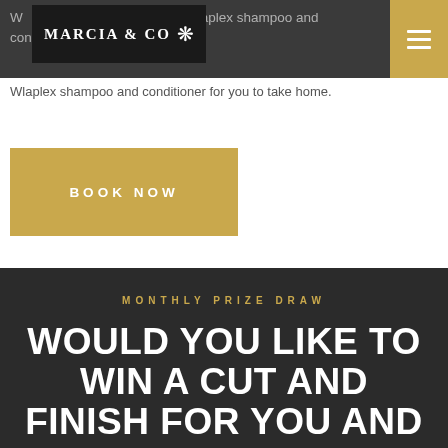MARCIA & CO — navbar with logo and menu button
W...laplex shampoo and conditioner for you to take home.
BOOK NOW
MONTHLY PRIZE DRAW
WOULD YOU LIKE TO WIN A CUT AND FINISH FOR YOU AND